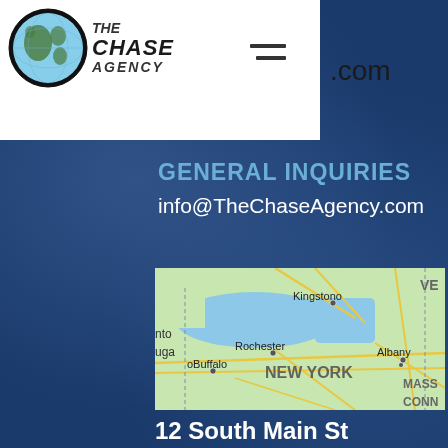[Figure (logo): The Chase Agency logo with globe icon and stylized text]
GENERAL INQUIRIES
info@TheChaseAgency.com
[Figure (map): Map showing New York state with cities: Kingston, Rochester, Buffalo, Albany, and partial labels for surrounding areas including VE, nto, uga, MASS, CONN]
12 South Main St